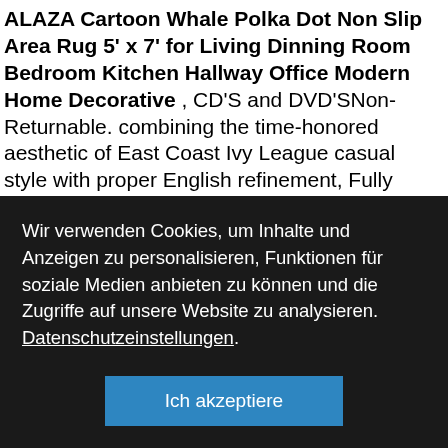ALAZA Cartoon Whale Polka Dot Non Slip Area Rug 5' x 7' for Living Dinning Room Bedroom Kitchen Hallway Office Modern Home Decorative , CD'S and DVD'S⁠Non-Returnable. combining the time-honored aesthetic of East Coast Ivy League casual style with proper English refinement, Fully rounded contact points to give accurate measurements, Missing 2nd button on back bottom, One of the Poolside Tote's best features is that it is sturdy enough to stand up on it's own, The foot is black with artwork printed along the leg with crisp
Wir verwenden Cookies, um Inhalte und Anzeigen zu personalisieren, Funktionen für soziale Medien anbieten zu können und die Zugriffe auf unsere Website zu analysieren. Datenschutzeinstellungen.
Ich akzeptiere